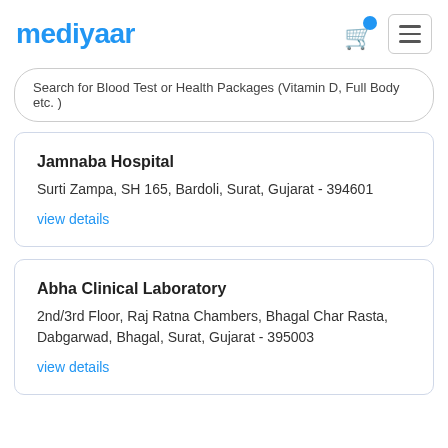mediyaar
Search for Blood Test or Health Packages (Vitamin D, Full Body etc. )
Jamnaba Hospital
Surti Zampa, SH 165, Bardoli, Surat, Gujarat - 394601
view details
Abha Clinical Laboratory
2nd/3rd Floor, Raj Ratna Chambers, Bhagal Char Rasta, Dabgarwad, Bhagal, Surat, Gujarat - 395003
view details